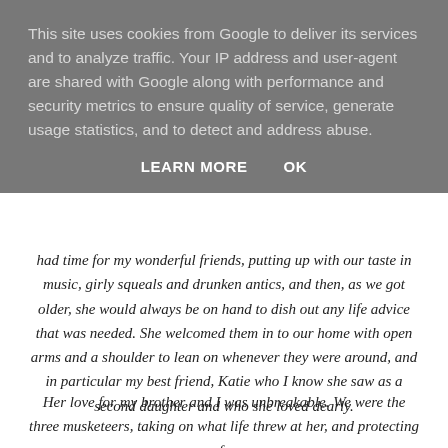This site uses cookies from Google to deliver its services and to analyze traffic. Your IP address and user-agent are shared with Google along with performance and security metrics to ensure quality of service, generate usage statistics, and to detect and address abuse.
LEARN MORE    OK
had time for my wonderful friends, putting up with our taste in music, girly squeals and drunken antics, and then, as we got older, she would always be on hand to dish out any life advice that was needed. She welcomed them in to our home with open arms and a shoulder to lean on whenever they were around, and in particular my best friend, Katie who I know she saw as a second daughter and who she loved dearly.
Her love for my brother and I was unbreakable. We were the three musketeers, taking on what life threw at her, and protecting us from